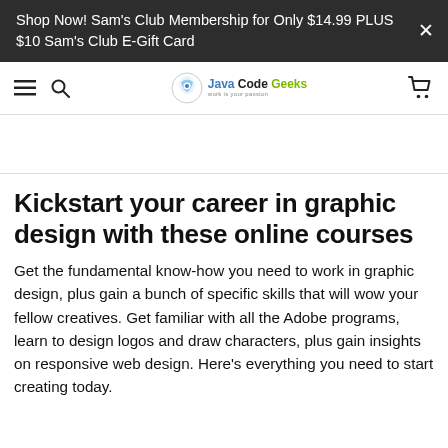Shop Now! Sam's Club Membership for Only $14.99 PLUS $10 Sam's Club E-Gift Card
[Figure (logo): Java Code Geeks logo with hamburger menu, search icon, and cart icon in navigation bar]
Kickstart your career in graphic design with these online courses
Get the fundamental know-how you need to work in graphic design, plus gain a bunch of specific skills that will wow your fellow creatives. Get familiar with all the Adobe programs, learn to design logos and draw characters, plus gain insights on responsive web design. Here’s everything you need to start creating today.